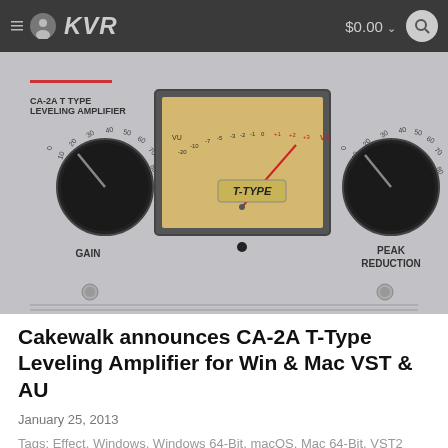KVR  $0.00
[Figure (screenshot): CA-2A T TYPE LEVELING AMPLIFIER plugin UI with GAIN knob on left, VU meter in center showing T-TYPE scale, and PEAK REDUCTION knob on right, on a grey background]
Cakewalk announces CA-2A T-Type Leveling Amplifier for Win & Mac VST & AU
January 25, 2013
Tags: Effect, Windows, Windows 64-Bit, macOS, Mac 64-Bit, VST2 Plugins, ...
[Figure (photo): Bottom portion of another plugin or hardware device with illuminated buttons on a light wood-grain surface]